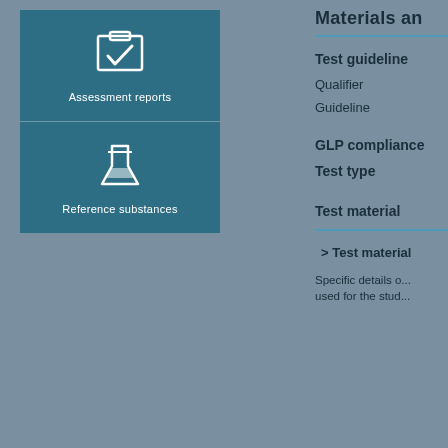Materials an
Test guideline
Qualifier
Guideline
GLP compliance
Test type
Test material
> Test material
Specific details o... used for the stud...
[Figure (illustration): Assessment reports icon - clipboard with checkmark, teal background, white icon]
Assessment reports
[Figure (illustration): Reference substances icon - laboratory flask/beaker, teal background, white icon]
Reference substances